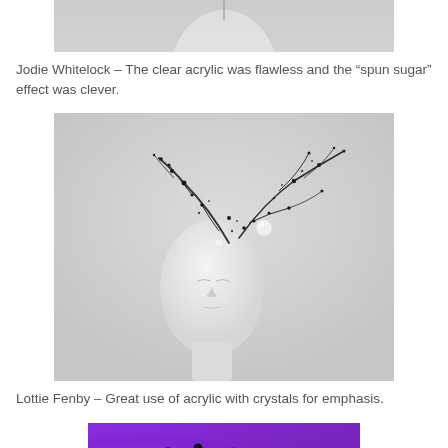[Figure (photo): Top portion of a white mannequin head with a fascinator/hat piece, light gray background - cropped image showing only top]
Jodie Whitelock – The clear acrylic was flawless and the “spun sugar” effect was clever.
[Figure (photo): White mannequin head wearing a dramatic splatter/spray-shaped fascinator made of dark crystals and acrylic, resembling an ink splash or bird wing shape, against a gray background]
Lottie Fenby – Great use of acrylic with crystals for emphasis.
[Figure (photo): Close-up of purple felt hat with decorative beads, crystals, and embellishments in various colors including gold, green, and dark tones]